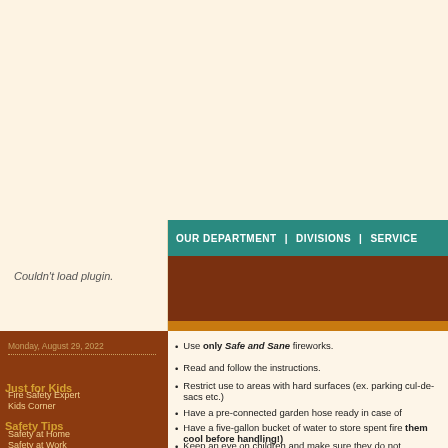[Figure (other): Couldn't load plugin box - cream background area top left]
OUR DEPARTMENT | DIVISIONS | SERVICES
Monday, August 29, 2022
Just for Kids
Fire Safety Expert
Kids Corner
Safety Tips
Safety at Home
Safety at Work
Fire Extinguishers
Swimming Pool Safety
Drowning Prevention
BBQ Fire Safety
Use only Safe and Sane fireworks.
Read and follow the instructions.
Restrict use to areas with hard surfaces (ex. parking cul-de-sacs etc.)
Have a pre-connected garden hose ready in case of
Have a five-gallon bucket of water to store spent fire them cool before handling!)
Keep an eye on children and make sure they do not